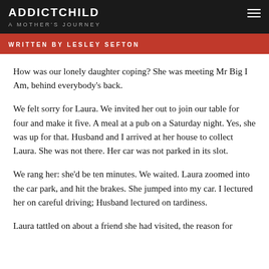ADDICTCHILD
A MOTHER'S JOURNEY
WRITTEN BY LESLEY SEFTON
How was our lonely daughter coping? She was meeting Mr Big I Am, behind everybody's back.
We felt sorry for Laura. We invited her out to join our table for four and make it five. A meal at a pub on a Saturday night. Yes, she was up for that. Husband and I arrived at her house to collect Laura. She was not there. Her car was not parked in its slot.
We rang her: she'd be ten minutes. We waited. Laura zoomed into the car park, and hit the brakes. She jumped into my car. I lectured her on careful driving; Husband lectured on tardiness.
Laura tattled on about a friend she had visited, the reason for